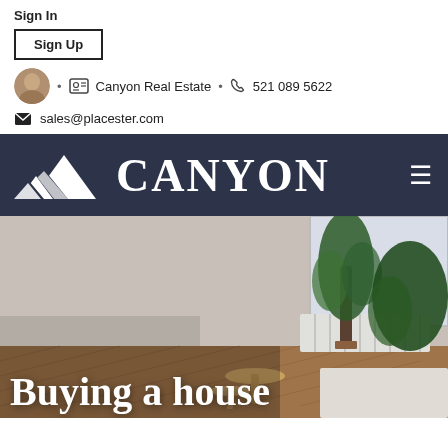Sign In
Sign Up
Canyon Real Estate  •  521 089 5622
sales@placester.com
[Figure (logo): Canyon Real Estate logo: mountain silhouette with CANYON text in white on dark navy background]
[Figure (photo): Interior room photo showing plants, herringbone wood floor, a radiator, and small tables. Text overlay reads 'Buying a house']
Buying a house